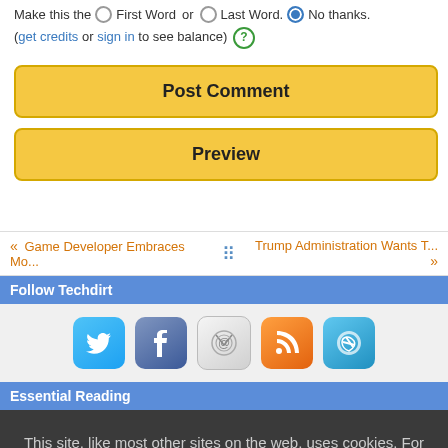Make this the  First Word  or  Last Word.  No thanks.
(get credits or sign in to see balance) ?
Post Comment
Preview
<< Game Developer Embraces Mo...  [icon]  Trump Administration Wants T... >>
Follow Techdirt
[Figure (infographic): Social media icons: Twitter, Facebook, Email, RSS, Feed]
Essential Reading
This site, like most other sites on the web, uses cookies. For more information, see our privacy policy
GOT IT